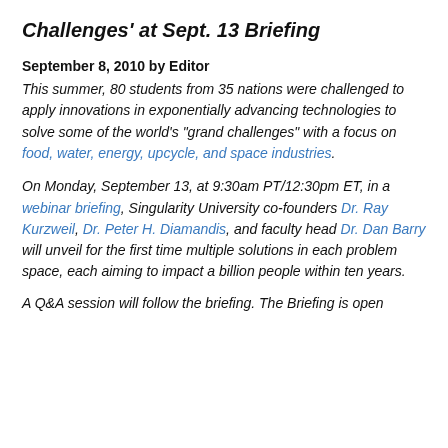Challenges' at Sept. 13 Briefing
September 8, 2010 by Editor
This summer, 80 students from 35 nations were challenged to apply innovations in exponentially advancing technologies to solve some of the world's "grand challenges" with a focus on food, water, energy, upcycle, and space industries.
On Monday, September 13, at 9:30am PT/12:30pm ET, in a webinar briefing, Singularity University co-founders Dr. Ray Kurzweil, Dr. Peter H. Diamandis, and faculty head Dr. Dan Barry will unveil for the first time multiple solutions in each problem space, each aiming to impact a billion people within ten years.
A Q&A session will follow the briefing. The Briefing is open